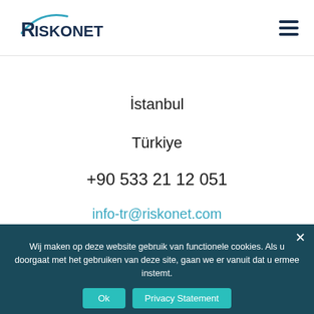[Figure (logo): Riskonet company logo with arc and text]
İstanbul
Türkiye
+90 533 21 12 051
info-tr@riskonet.com
Wij maken op deze website gebruik van functionele cookies. Als u doorgaat met het gebruiken van deze site, gaan we er vanuit dat u ermee instemt.
Ok   Privacy Statement
De Cuserstraat 9
1081 CN Amsterdam